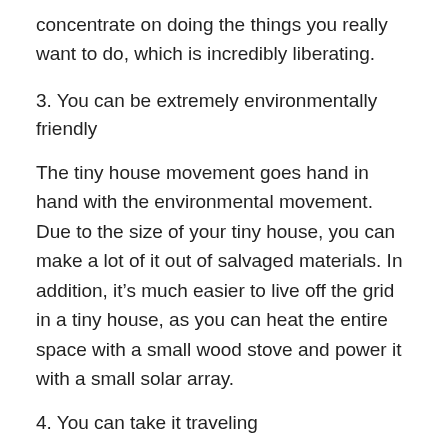concentrate on doing the things you really want to do, which is incredibly liberating.
3. You can be extremely environmentally friendly
The tiny house movement goes hand in hand with the environmental movement. Due to the size of your tiny house, you can make a lot of it out of salvaged materials. In addition, it’s much easier to live off the grid in a tiny house, as you can heat the entire space with a small wood stove and power it with a small solar array.
4. You can take it traveling